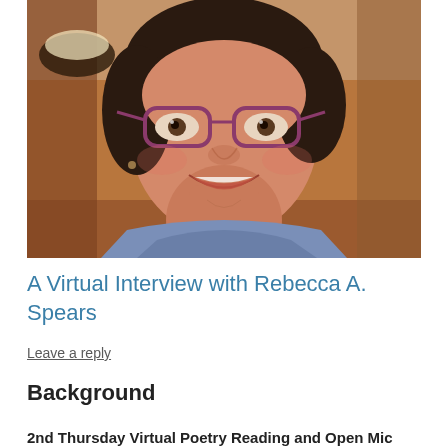[Figure (photo): Portrait photo of Rebecca A. Spears, a middle-aged woman with short dark curly hair, wearing purple glasses and a blue top, smiling at the camera. Background shows warm brown tones suggesting a restaurant or home setting.]
A Virtual Interview with Rebecca A. Spears
Leave a reply
Background
2nd Thursday Virtual Poetry Reading and Open Mic